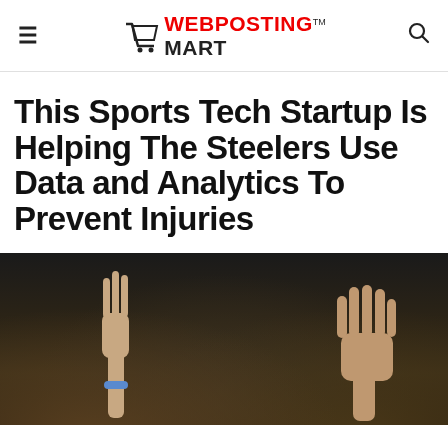WebPostingMart
This Sports Tech Startup Is Helping The Steelers Use Data and Analytics To Prevent Injuries
[Figure (photo): Two hands raised up against a dark blurred crowd background at a sports event]